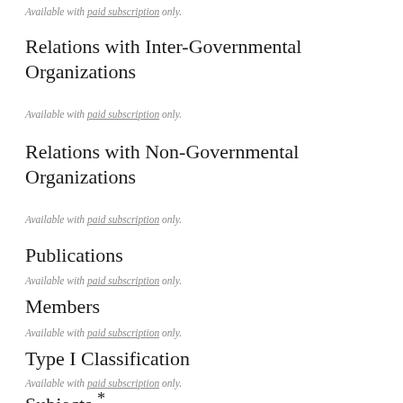Available with paid subscription only.
Relations with Inter-Governmental Organizations
Available with paid subscription only.
Relations with Non-Governmental Organizations
Available with paid subscription only.
Publications
Available with paid subscription only.
Members
Available with paid subscription only.
Type I Classification
Available with paid subscription only.
Subjects *